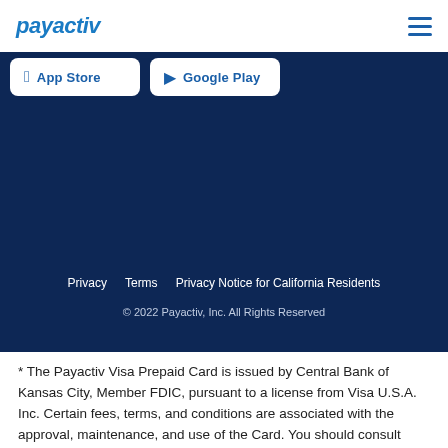payactiv
[Figure (screenshot): App Store and Google Play download buttons on dark blue background]
Privacy   Terms   Privacy Notice for California Residents
© 2022 Payactiv, Inc. All Rights Reserved
* The Payactiv Visa Prepaid Card is issued by Central Bank of Kansas City, Member FDIC, pursuant to a license from Visa U.S.A. Inc. Certain fees, terms, and conditions are associated with the approval, maintenance, and use of the Card. You should consult your Cardholder Agreement and the Fee Schedule at payactiv.com/card411. If you have questions regarding the